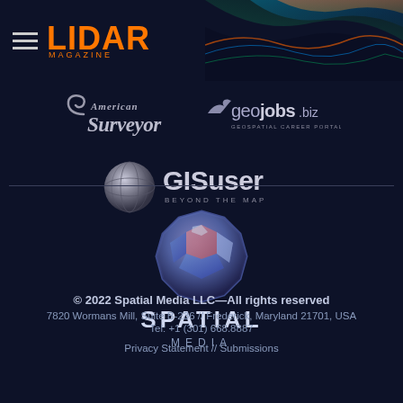[Figure (logo): LIDAR Magazine logo with hamburger menu icon, orange LIDAR text and MAGAZINE subtitle]
[Figure (logo): American Surveyor magazine logo in italic serif font]
[Figure (logo): geojobs.biz Geospatial Career Portal logo]
[Figure (logo): GISuser Beyond the Map logo with sphere icon]
[Figure (logo): Spatial Media logo with faceted sphere gem icon]
© 2022 Spatial Media LLC—All rights reserved
7820 Wormans Mill, Suite B-236 // Frederick, Maryland 21701, USA
Tel: +1 (301) 668.8887
Privacy Statement  //   Submissions